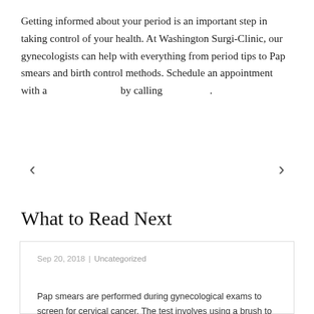Getting informed about your period is an important step in taking control of your health. At Washington Surgi-Clinic, our gynecologists can help with everything from period tips to Pap smears and birth control methods. Schedule an appointment with a by calling .
What to Read Next
Sep 20, 2018 | Uncategorized
Pap smears are performed during gynecological exams to screen for cervical cancer. The test involves using a brush to take a small sample of cervical...